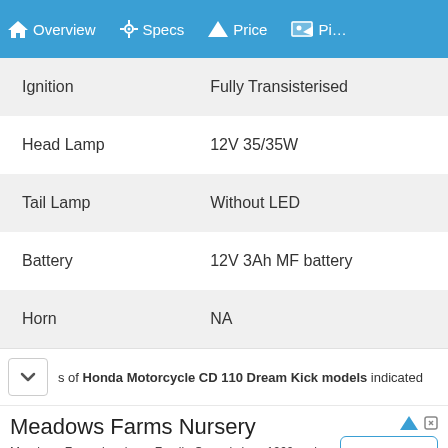Overview  Specs  Price  Pi...
| Spec | Value |
| --- | --- |
| Ignition | Fully Transisterised |
| Head Lamp | 12V 35/35W |
| Tail Lamp | Without LED |
| Battery | 12V 3Ah MF battery |
| Horn | NA |
s of Honda Motorcycle CD 110 Dream Kick models indicated
Meadows Farms Nursery
Meadows Farms has been Family-Owned since 1960 and has 18 locations in the DMV area. meadowsfarms.com